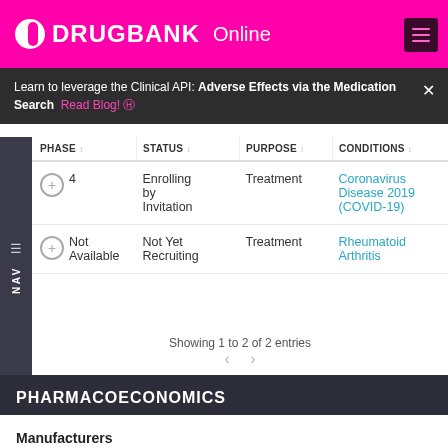DRUGBANK Online
Learn to leverage the Clinical API: Adverse Effects via the Medication Search Read Blog!
| PHASE | STATUS | PURPOSE | CONDITIONS |
| --- | --- | --- | --- |
| 4 | Enrolling by Invitation | Treatment | Coronavirus Disease 2019 (COVID-19) |
| Not Available | Not Yet Recruiting | Treatment | Rheumatoid Arthritis |
Showing 1 to 2 of 2 entries
PHARMACOECONOMICS
Manufacturers